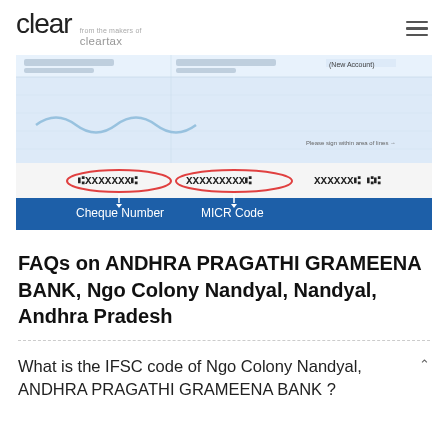clear from the makers of cleartax
[Figure (illustration): Cheque image showing bottom strip with Cheque Number and MICR Code fields highlighted with red ovals. Blue background banner with white labels 'Cheque Number' and 'MICR Code' with arrows.]
FAQs on ANDHRA PRAGATHI GRAMEENA BANK, Ngo Colony Nandyal, Nandyal, Andhra Pradesh
What is the IFSC code of Ngo Colony Nandyal, ANDHRA PRAGATHI GRAMEENA BANK ?